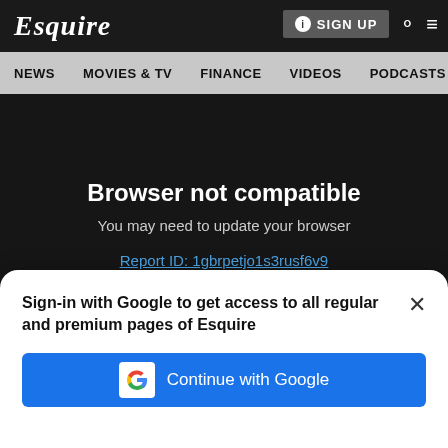Esquire — NEWS  MOVIES & TV  FINANCE  VIDEOS  PODCASTS
Browser not compatible
You may need to update your browser
Report ID: 1gbrpetjo1s3rusf6v9
weird, angsty, older brother.
Special mention: Dead Man's Bones
Sign-in with Google to get access to all regular and premium pages of Esquire
[Figure (screenshot): Continue with Google button — blue button with Google logo]